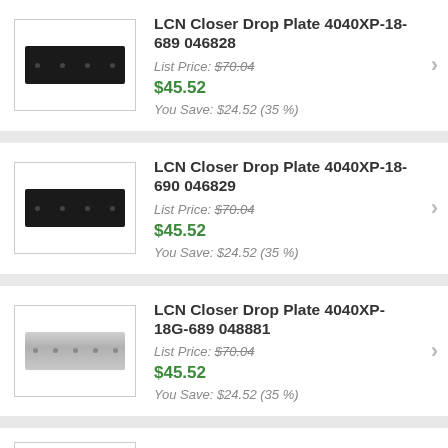[Figure (photo): Black rectangular LCN closer drop plate with mounting holes]
LCN Closer Drop Plate 4040XP-18-689 046828
List Price: $70.04
$45.52
You Save: $24.52 (35 %)
[Figure (photo): Black rectangular LCN closer drop plate with mounting holes]
LCN Closer Drop Plate 4040XP-18-690 046829
List Price: $70.04
$45.52
You Save: $24.52 (35 %)
[Figure (photo): Silver/aluminum rectangular LCN closer drop plate with mounting holes]
LCN Closer Drop Plate 4040XP-18G-689 048881
List Price: $70.04
$45.52
You Save: $24.52 (35 %)